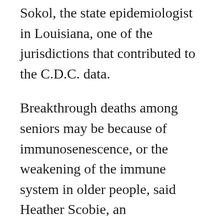Sokol, the state epidemiologist in Louisiana, one of the jurisdictions that contributed to the C.D.C. data.
Breakthrough deaths among seniors may be because of immunosenescence, or the weakening of the immune system in older people, said Heather Scobie, an epidemiologist at the C.D.C. who helps lead the team that produced the new data.
“They don’t usually form as robust a response to vaccination,” added Dr. Scobie. “Hopefully the booster dose